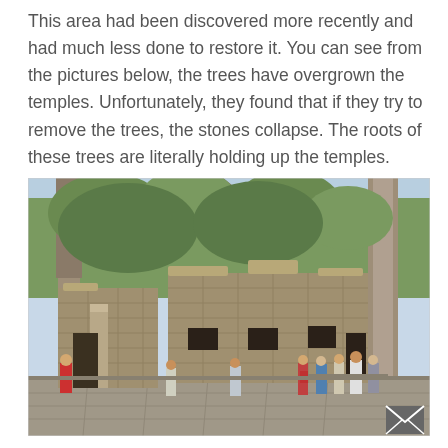This area had been discovered more recently and had much less done to restore it. You can see from the pictures below, the trees have overgrown the temples. Unfortunately, they found that if they try to remove the trees, the stones collapse. The roots of these trees are literally holding up the temples.
[Figure (photo): A photograph of ancient stone temple ruins overgrown with large trees. Tourists are visible in the foreground on a stone-paved courtyard. The ruins show weathered stone walls and doorways, with tall trees growing from and around the structure. Sky visible through the tree canopy in the background.]